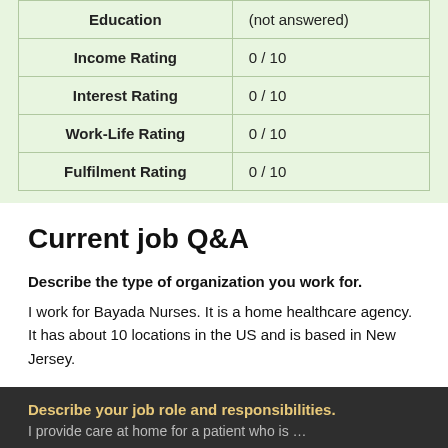|  |  |
| --- | --- |
| Education | (not answered) |
| Income Rating | 0 / 10 |
| Interest Rating | 0 / 10 |
| Work-Life Rating | 0 / 10 |
| Fulfilment Rating | 0 / 10 |
Current job Q&A
Describe the type of organization you work for.
I work for Bayada Nurses. It is a home healthcare agency. It has about 10 locations in the US and is based in New Jersey.
Describe your job role and responsibilities.